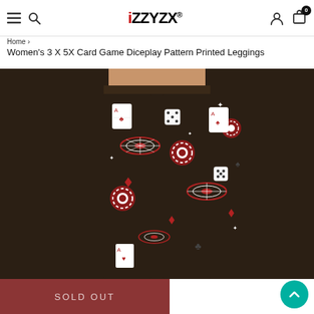iZZYZX® — navigation bar with hamburger menu, search, account, and cart (0 items)
Home ›
Women's 3 X 5X Card Game Diceplay Pattern Printed Leggings
[Figure (photo): Woman wearing black leggings printed with casino/card game pattern including roulette wheels, poker chips, playing cards, and dice on a dark background.]
SOLD OUT